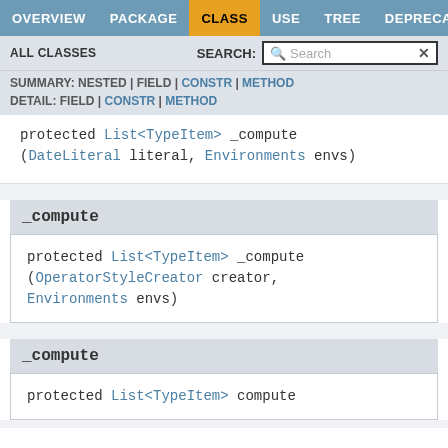OVERVIEW | PACKAGE | CLASS | USE | TREE | DEPRECATED
ALL CLASSES   SEARCH:
SUMMARY: NESTED | FIELD | CONSTR | METHOD
DETAIL: FIELD | CONSTR | METHOD
protected List<TypeItem> _compute (DateLiteral literal, Environments envs)
_compute
protected List<TypeItem> _compute (OperatorStyleCreator creator, Environments envs)
_compute
protected List<TypeItem> compute